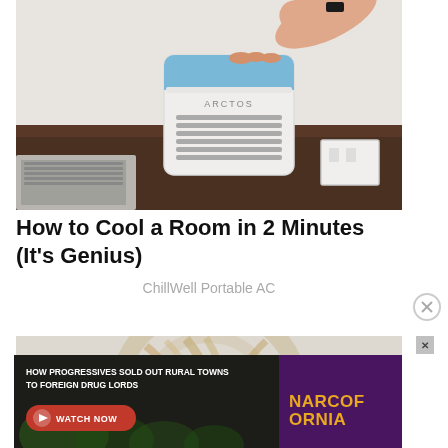[Figure (photo): Photo of a white and blue Arctos portable air cooler/AC unit sitting on a dark wood desk, with a hand reaching down to touch the top, and a laptop keyboard visible in the lower left corner. A white wall outlet is visible in the lower right.]
How to Cool a Room in 2 Minutes (It's Genius)
ChillWell Portable AC
[Figure (photo): Partial photo showing blond hair in a swirling motion, used as a second ad/article thumbnail image.]
[Figure (photo): Advertisement banner: HOW PROGRESSIVES SOLD OUT RURAL TOWNS TO FOREIGN DRUG LORDS — Narcofornia. Watch Now button with red play button.]